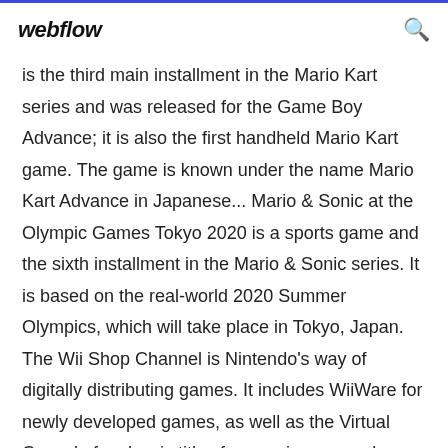webflow
is the third main installment in the Mario Kart series and was released for the Game Boy Advance; it is also the first handheld Mario Kart game. The game is known under the name Mario Kart Advance in Japanese... Mario & Sonic at the Olympic Games Tokyo 2020 is a sports game and the sixth installment in the Mario & Sonic series. It is based on the real-world 2020 Summer Olympics, which will take place in Tokyo, Japan. The Wii Shop Channel is Nintendo's way of digitally distributing games. It includes WiiWare for newly developed games, as well as the Virtual Console for classic titles from various consoles and arcade